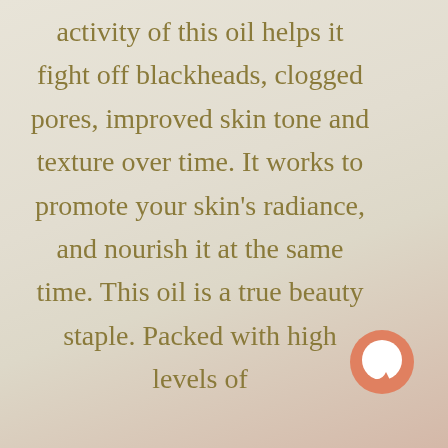activity of this oil helps it fight off blackheads, clogged pores, improved skin tone and texture over time. It works to promote your skin's radiance, and nourish it at the same time. This oil is a true beauty staple. Packed with high levels of
[Figure (illustration): A salmon/terracotta colored circular chat bubble icon positioned in the bottom right corner]